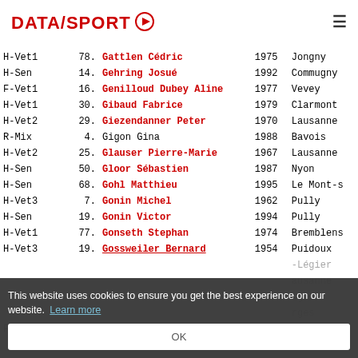DATASPORT
| Category | No. | Name | Year | City |
| --- | --- | --- | --- | --- |
| H-Vet1 | 78. | Gattlen Cédric | 1975 | Jongny |
| H-Sen | 14. | Gehring Josué | 1992 | Commugny |
| F-Vet1 | 16. | Genilloud Dubey Aline | 1977 | Vevey |
| H-Vet1 | 30. | Gibaud Fabrice | 1979 | Clarmont |
| H-Vet2 | 29. | Giezendanner Peter | 1970 | Lausanne |
| R-Mix | 4. | Gigon Gina | 1988 | Bavois |
| H-Vet2 | 25. | Glauser Pierre-Marie | 1967 | Lausanne |
| H-Sen | 50. | Gloor Sébastien | 1987 | Nyon |
| H-Sen | 68. | Gohl Matthieu | 1995 | Le Mont-s |
| H-Vet3 | 7. | Gonin Michel | 1962 | Pully |
| H-Sen | 19. | Gonin Victor | 1994 | Pully |
| H-Vet1 | 77. | Gonseth Stephan | 1974 | Bremblens |
| H-Vet3 | 19. | Gossweiler Bernard | 1954 | Puidoux |
| ... | ... | ... | ... | -Légier |
| ... | ... | ... | ... | ausanne |
| ... | ... | ... | ... | rges |
| ... | ... | ... | ... | rges |
| F-Vet1 | 12. | Gras Olga | 1983 | Lausanne |
This website uses cookies to ensure you get the best experience on our website. Learn more
OK